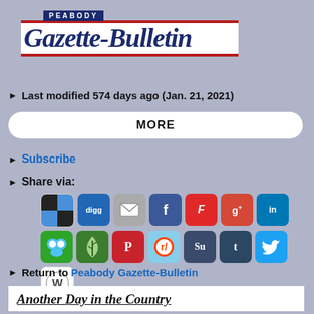[Figure (logo): Peabody Gazette-Bulletin newspaper logo with dark blue and red design]
Last modified 574 days ago (Jan. 21, 2021)
MORE
Subscribe
Share via:
[Figure (other): Social media sharing icons: AddThis, Digg, Email, Facebook, Flipboard, Google+, LinkedIn, MSN/Live, Newsvine, Pinterest, Reddit, StumbleUpon, Tumblr, Twitter, WordPress]
Return to Peabody Gazette-Bulletin
Another Day in the Country